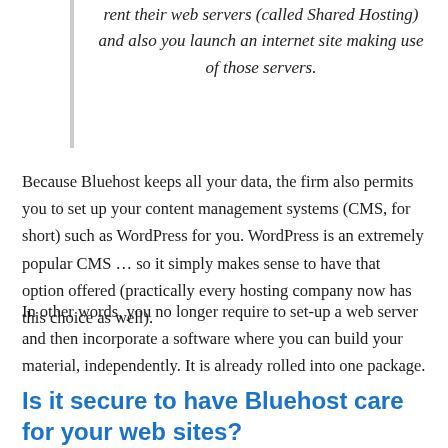rent their web servers (called Shared Hosting) and also you launch an internet site making use of those servers.
Because Bluehost keeps all your data, the firm also permits you to set up your content management systems (CMS, for short) such as WordPress for you. WordPress is an extremely popular CMS … so it simply makes sense to have that option offered (practically every hosting company now has this choice as well).
In other words, you no longer require to set-up a web server and then incorporate a software where you can build your material, independently. It is already rolled into one package.
Is it secure to have Bluehost care for your web sites?